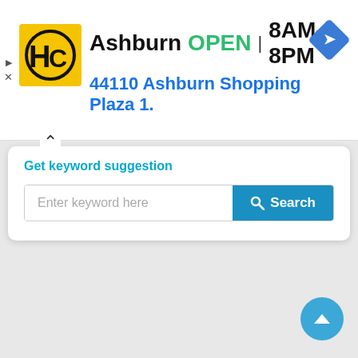[Figure (screenshot): Advertisement banner for HC (Haverty's or similar store) showing logo, location Ashburn, OPEN status, hours 8AM-8PM, address 44110 Ashburn Shopping Plaza 1., and a navigation arrow icon]
Get keyword suggestion
Enter keyword here
Search